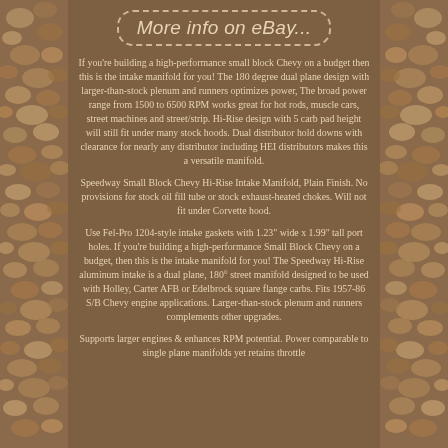[Figure (illustration): Stone/pebble texture background on left and right side panels of the page]
More info on eBay...
If you're building a high-performance small block Chevy on a budget then this is the intake manifold for you! The 180 degree dual plane design with larger-than-stock plenum and runners optimizes power. The broad power range from 1500 to 6500 RPM works great for hot rods, muscle cars, street machines and street/strip. Hi-Rise design with 5 carb pad height will still fit under many stock hoods. Dual distributor hold downs with clearance for nearly any distributor including HEI distributors makes this a versatile manifold.
Speedway Small Block Chevy Hi-Rise Intake Manifold, Plain Finish. No provisions for stock oil fill tube or stock exhaust-heated chokes. Will not fit under Corvette hood.
Use Fel-Pro 1204-style intake gaskets with 1.23" wide x 1.99" tall port holes. If you're building a high-performance Small Block Chevy on a budget, then this is the intake manifold for you! The Speedway Hi-Rise aluminum intake is a dual plane, 180° street manifold designed to be used with Holley, Carter AFB or Edelbrock square flange carbs. Fits 1957-86 S/B Chevy engine applications. Larger-than-stock plenum and runners complements other upgrades.
Supports larger engines & enhances RPM potential. Power comparable to single plane manifolds yet retains throttle